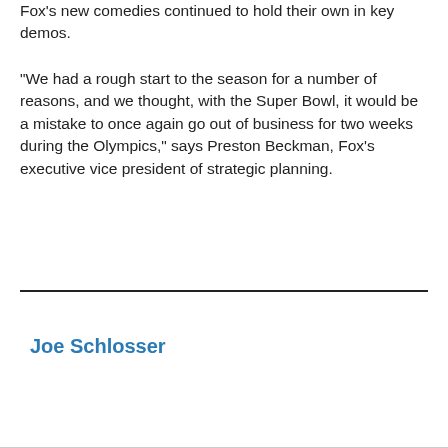Fox's new comedies continued to hold their own in key demos.
"We had a rough start to the season for a number of reasons, and we thought, with the Super Bowl, it would be a mistake to once again go out of business for two weeks during the Olympics," says Preston Beckman, Fox's executive vice president of strategic planning.
Joe Schlosser